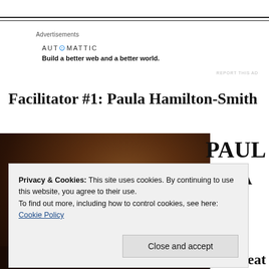Advertisements
AUTOMATTIC
Build a better web and a better world.
REPORT THIS AD
Facilitator #1: Paula Hamilton-Smith
[Figure (photo): Partial photo of a person, mostly dark/brown tones showing the top of a head with curly hair]
PAUL A
Privacy & Cookies: This site uses cookies. By continuing to use this website, you agree to their use.
To find out more, including how to control cookies, see here:
Cookie Policy
Close and accept
Theat